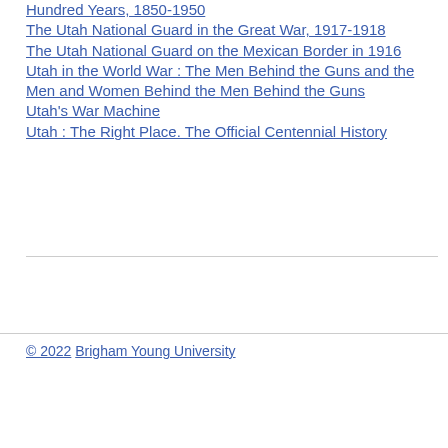Hundred Years, 1850-1950
The Utah National Guard in the Great War, 1917-1918
The Utah National Guard on the Mexican Border in 1916
Utah in the World War : The Men Behind the Guns and the Men and Women Behind the Men Behind the Guns
Utah's War Machine
Utah : The Right Place. The Official Centennial History
© 2022 Brigham Young University